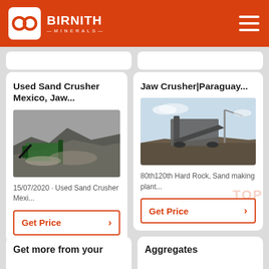[Figure (logo): Birnith Minerals logo - white hexagonal icon with two circles, white text BIRNITH MINERALS on orange background]
Used Sand Crusher Mexico, Jaw...
[Figure (photo): Photo of a sand crusher machine operating with gravel/sand pile in background]
15/07/2020 · Used Sand Crusher Mexi...
Get Price
Jaw Crusher|Paraguay...
[Figure (photo): Photo of a jaw crusher machine at a quarry/mining site with blue sky background]
80th120th Hard Rock, Sand making plant...
Get Price
Get more from your
Aggregates